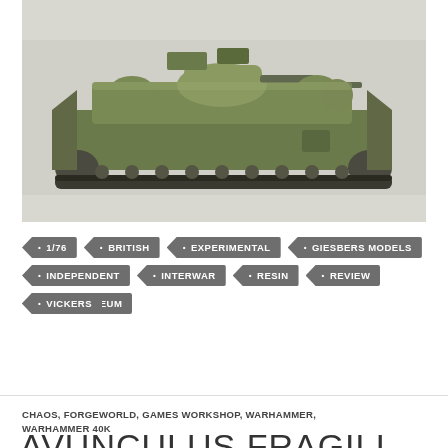[Figure (photo): A painted 1/76 scale model of a British Vickers experimental tank in olive green/khaki colors, shown in side profile view against a white background. The tank has detailed tracks, turrets, and superstructure.]
1/76
BRITISH
EXPERIMENTAL
GIESBERS MODELS
INDEPENDENT
INTERWAR
RESIN
REVIEW
TANK MUSEUM
VICKERS
CHAOS, FORGEWORLD, GAMES WORKSHOP, WARHAMMER, WARHAMMER 40K
AVUNCULUS FRAGILI